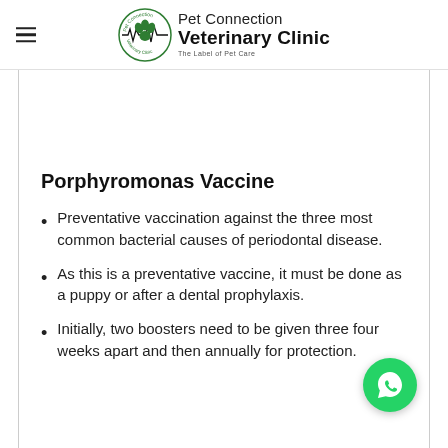Pet Connection Veterinary Clinic
Porphyromonas Vaccine
Preventative vaccination against the three most common bacterial causes of periodontal disease.
As this is a preventative vaccine, it must be done as a puppy or after a dental prophylaxis.
Initially, two boosters need to be given three four weeks apart and then annually for protection.